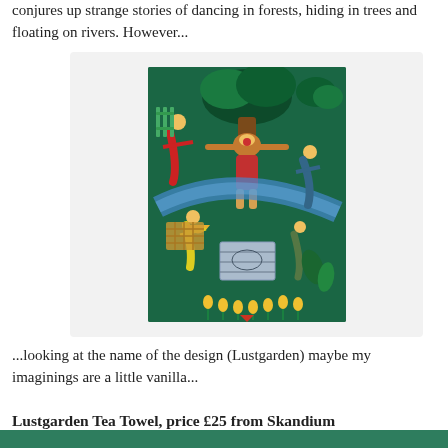conjures up strange stories of dancing in forests, hiding in trees and floating on rivers. However...
[Figure (illustration): Colorful folk-art style textile print (Lustgarden tea towel) featuring stylized human figures dancing among trees, plants, and decorative elements on a dark green background. Characters in red, yellow, teal, and earth tones are depicted in a whimsical forest garden scene.]
...looking at the name of the design (Lustgarden) maybe my imaginings are a little vanilla...
Lustgarden Tea Towel, price £25 from Skandium